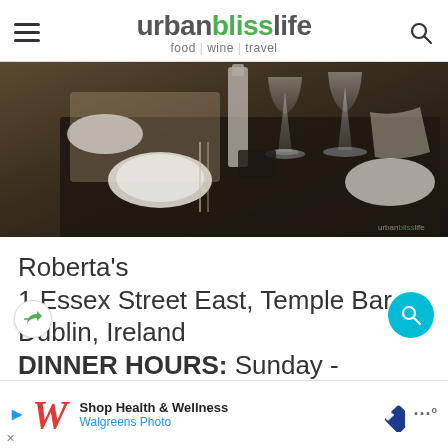urbanblisslife food | wine | travel
[Figure (photo): Restaurant interior with table settings, glassware, plates, and dark wood surfaces. Watermark reads urbanblisslife.]
Roberta's
1 Essex Street East, Temple Bar
Dublin, Ireland
DINNER HOURS: Sunday - Wednesday 5pm – 9pm, Thursday
Saturday
[Figure (infographic): Ad banner: Shop Health & Wellness – Walgreens Photo]
Shop Health & Wellness – Walgreens Photo